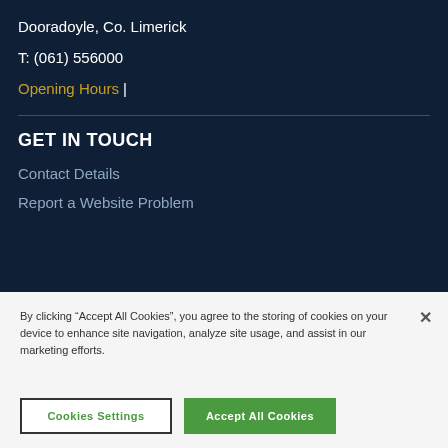Dooradoyle, Co. Limerick
T: (061) 556000
Opening Hours |
GET IN TOUCH
Contact Details
Report a Website Problem
By clicking “Accept All Cookies”, you agree to the storing of cookies on your device to enhance site navigation, analyze site usage, and assist in our marketing efforts.
Cookies Settings
Accept All Cookies